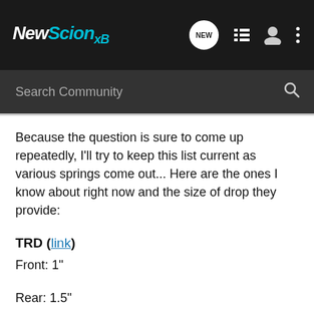NewScionxB — navigation bar with logo, new posts bubble, list icon, user icon, more icon
Search Community
Because the question is sure to come up repeatedly, I'll try to keep this list current as various springs come out... Here are the ones I know about right now and the size of drop they provide:
TRD (link)
Front: 1"
Rear: 1.5"
MSRP: $250
Tanabe DF210 (link)
Front: 1.7"
Rear: 2.1"
MSRP: $230